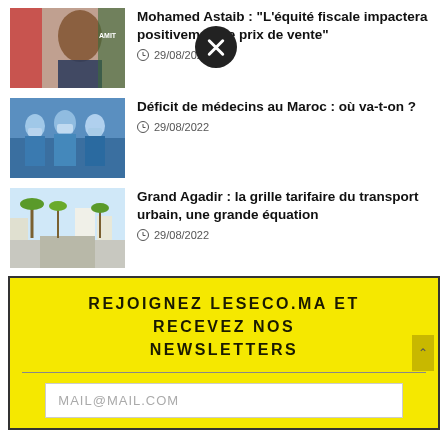[Figure (photo): Portrait of Mohamed Astaib, a man in a suit with a green logo backdrop]
Mohamed Astaib : "L'équité fiscale impactera positivement le prix de vente"
29/08/2022
[Figure (photo): Medical team in blue surgical gowns and masks performing a procedure]
Déficit de médecins au Maroc : où va-t-on ?
29/08/2022
[Figure (photo): Wide boulevard in Grand Agadir with palm trees and city buildings]
Grand Agadir : la grille tarifaire du transport urbain, une grande équation
29/08/2022
REJOIGNEZ LESECO.MA ET RECEVEZ NOS NEWSLETTERS
MAIL@MAIL.COM